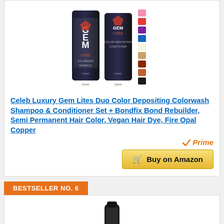[Figure (photo): Product image of Celeb Luxury Gem Lites Duo Color Depositing Colorwash Shampoo and Conditioner bottles alongside color swatches]
Celeb Luxury Gem Lites Duo Color Depositing Colorwash Shampoo & Conditioner Set + Bondfix Bond Rebuilder, Semi Permanent Hair Color, Vegan Hair Dye, Fire Opal Copper
Prime
Buy on Amazon
BESTSELLER NO. 6
[Figure (photo): Partial product image of next bestseller item]